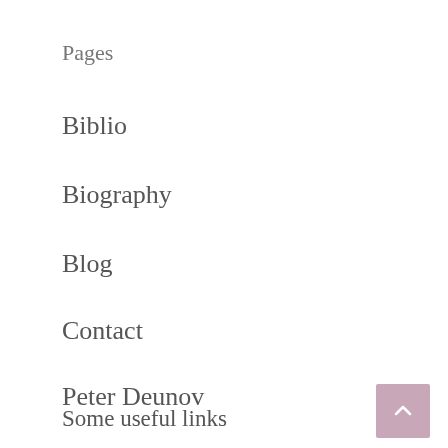Pages
Biblio
Biography
Blog
Contact
Peter Deunov
Privacy Policy
Recommended Youtube Channels
Some useful links